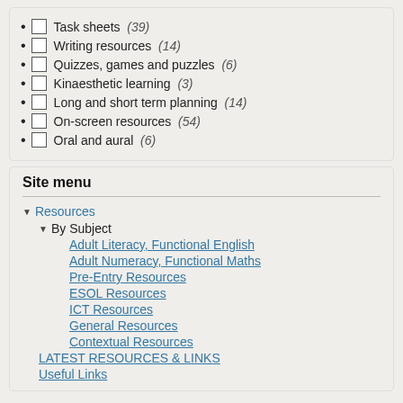Task sheets (39)
Writing resources (14)
Quizzes, games and puzzles (6)
Kinaesthetic learning (3)
Long and short term planning (14)
On-screen resources (54)
Oral and aural (6)
Site menu
Resources
By Subject
Adult Literacy, Functional English
Adult Numeracy, Functional Maths
Pre-Entry Resources
ESOL Resources
ICT Resources
General Resources
Contextual Resources
LATEST RESOURCES & LINKS
Useful Links